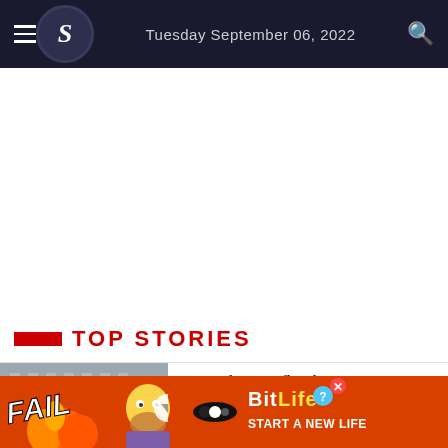Tuesday September 06, 2022
Top Stories
[Figure (photo): News article thumbnail photo showing political figures, with a video play overlay]
Water sharing, flood mitigation among 7 MoUs
[Figure (photo): BitLife advertisement banner: FAIL text with cartoon character, BitLife logo, START A NEW LIFE text]